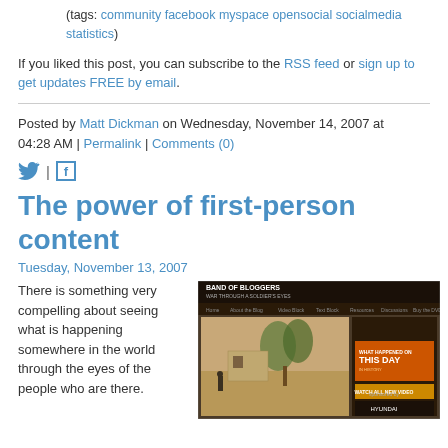(tags: community facebook myspace opensocial socialmedia statistics)
If you liked this post, you can subscribe to the RSS feed or sign up to get updates FREE by email.
Posted by Matt Dickman on Wednesday, November 14, 2007 at 04:28 AM | Permalink | Comments (0)
[Figure (other): Twitter and Facebook social share icons]
The power of first-person content
Tuesday, November 13, 2007
There is something very compelling about seeing what is happening somewhere in the world through the eyes of the people who are there.
[Figure (screenshot): Band of Bloggers website screenshot showing war through a soldier's eyes with video content and a Hyundai advertisement]